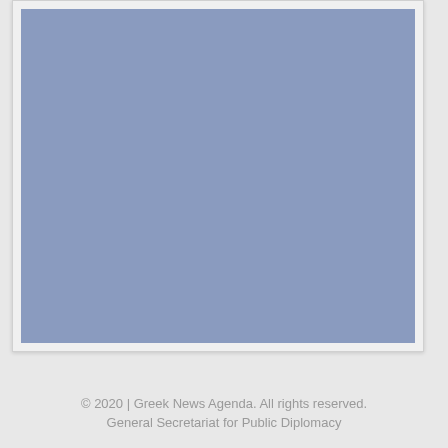[Figure (photo): Large rectangular image placeholder with a muted steel-blue/slate background, displayed on a light grey card with slight shadow]
© 2020 | Greek News Agenda. All rights reserved.
General Secretariat for Public Diplomacy